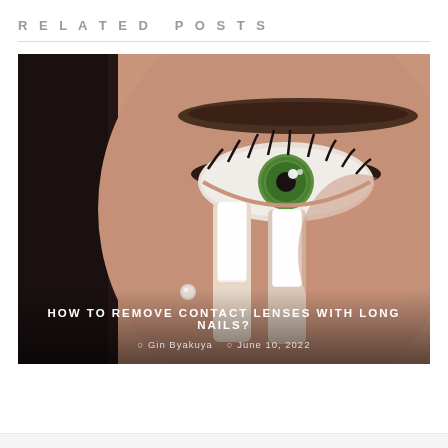RELATED POSTS
[Figure (photo): Close-up photo of a woman with striking green eyes removing a contact lens with long white fingernails near her eye]
HOW TO REMOVE CONTACT LENSES WITH LONG NAILS?
Gin Byakuya   June 10, 2022